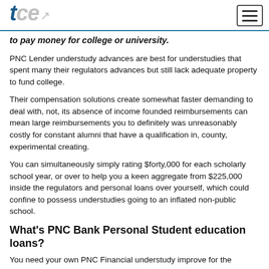tce
to pay money for college or university.
PNC Lender understudy advances are best for understudies that spent many their regulators advances but still lack adequate property to fund college.
Their compensation solutions create somewhat faster demanding to deal with, not, its absence of income founded reimbursements can mean large reimbursements you to definitely was unreasonably costly for constant alumni that have a qualification in, county, experimental creating.
You can simultaneously simply rating $forty,000 for each scholarly school year, or over to help you a keen aggregate from $225,000 inside the regulators and personal loans over yourself, which could confine to possess understudies going to an inflated non-public school.
What's PNC Bank Personal Student education loans?
You need your own PNC Financial understudy improve for the